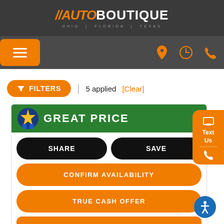//AUTO BOUTIQUE OHIO | FLORIDA | TEXAS
[Figure (screenshot): Navigation bar with hamburger menu on left and orange location, clock, and phone icons on right]
FILTERS  |  5 applied  [Clear]
[Figure (illustration): GREAT PRICE banner with blue ribbon badge on green background]
SHARE
SAVE
CONFIRM AVAILABILITY
TRUE CASH OFFER
Build Your Deal
Value Your Trade
Text Us